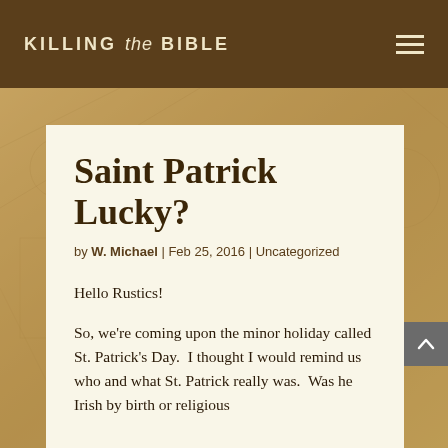KILLING the BIBLE
Saint Patrick Lucky?
by W. Michael | Feb 25, 2016 | Uncategorized
Hello Rustics!
So, we're coming upon the minor holiday called St. Patrick's Day.  I thought I would remind us who and what St. Patrick really was.  Was he Irish by birth or religious